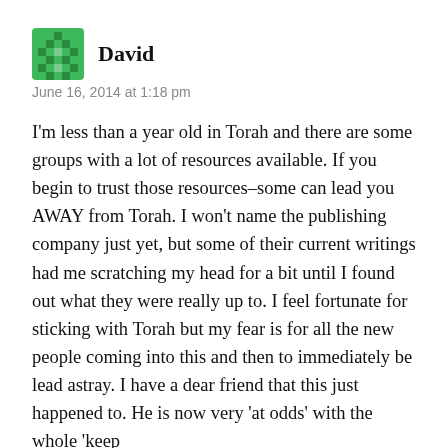David
June 16, 2014 at 1:18 pm
I'm less than a year old in Torah and there are some groups with a lot of resources available. If you begin to trust those resources–some can lead you AWAY from Torah. I won't name the publishing company just yet, but some of their current writings had me scratching my head for a bit until I found out what they were really up to. I feel fortunate for sticking with Torah but my fear is for all the new people coming into this and then to immediately be lead astray. I have a dear friend that this just happened to. He is now very 'at odds' with the whole 'keep